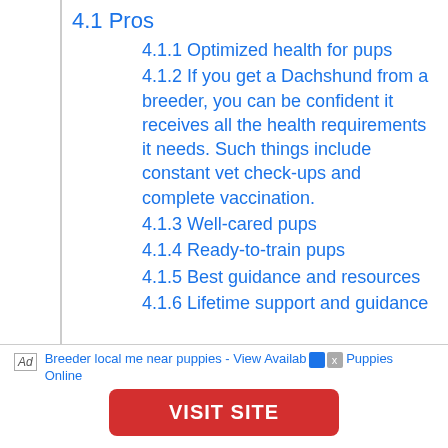4.1 Pros
4.1.1 Optimized health for pups
4.1.2 If you get a Dachshund from a breeder, you can be confident it receives all the health requirements it needs. Such things include constant vet check-ups and complete vaccination.
4.1.3 Well-cared pups
4.1.4 Ready-to-train pups
4.1.5 Best guidance and resources
4.1.6 Lifetime support and guidance
Ad  Breeder local me near puppies - View Available Puppies Online
VISIT SITE